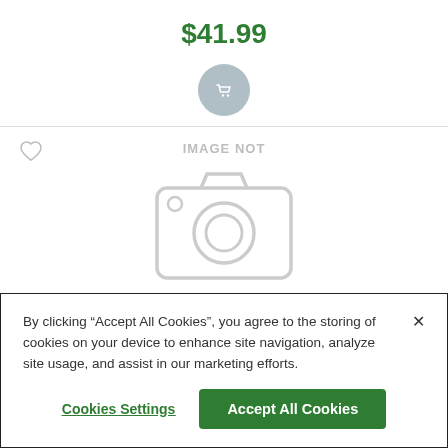$41.99
[Figure (illustration): Grey circular shopping cart button icon]
[Figure (illustration): IMAGE NOT AVAILABLE placeholder with grey camera icon]
SonicWall SonicWave Global Gigabit PoE+ Injector
By clicking “Accept All Cookies”, you agree to the storing of cookies on your device to enhance site navigation, analyze site usage, and assist in our marketing efforts.
Cookies Settings
Accept All Cookies